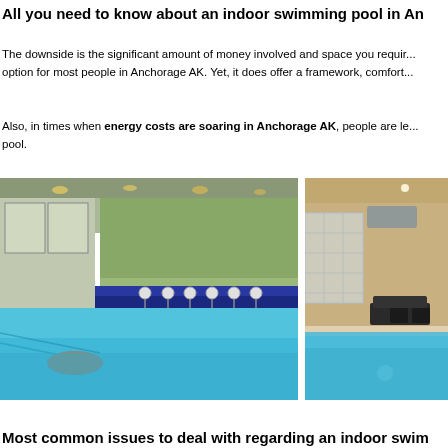All you need to know about an indoor swimming pool in An...
The downside is the significant amount of money involved and space you requir... option for most people in Anchorage AK. Yet, it does offer a framework, comfort...
Also, in times when energy costs are soaring in Anchorage AK, people are l... pool.
[Figure (photo): Indoor swimming pool with blue water, bar area with stools, green-painted walls, and ceiling lights]
[Figure (photo): Indoor swimming pool with glass block wall partition, lounge area with furniture, warm-toned walls]
Most common issues to deal with regarding an indoor swim...